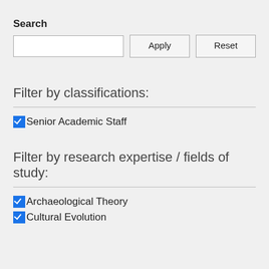Search
Apply | Reset (search bar with Apply and Reset buttons)
Filter by classifications:
✓ Senior Academic Staff
Filter by research expertise / fields of study:
✓ Archaeological Theory
✓ Cultural Evolution